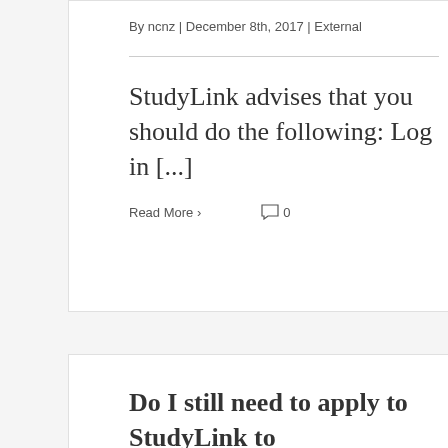By ncnz | December 8th, 2017 | External
StudyLink advises that you should do the following: Log in [...]
Read More >   0
Do I still need to apply to StudyLink to